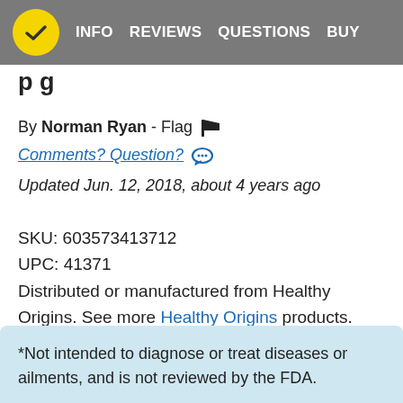INFO   REVIEWS   QUESTIONS   BUY
p g
By Norman Ryan - Flag
Comments? Question?
Updated Jun. 12, 2018, about 4 years ago
SKU: 603573413712
UPC: 41371
Distributed or manufactured from Healthy Origins. See more Healthy Origins products.
*Not intended to diagnose or treat diseases or ailments, and is not reviewed by the FDA.